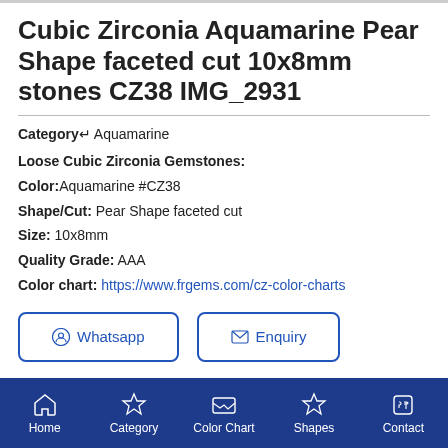Cubic Zirconia Aquamarine Pear Shape faceted cut 10x8mm stones CZ38 IMG_2931
Category↵ Aquamarine
Loose Cubic Zirconia Gemstones:
Color: Aquamarine #CZ38
Shape/Cut: Pear Shape faceted cut
Size: 10x8mm
Quality Grade: AAA
Color chart: https://www.frgems.com/cz-color-charts
Whatsapp  Enquiry
Home  Category  Color Chart  Shapes  Contact